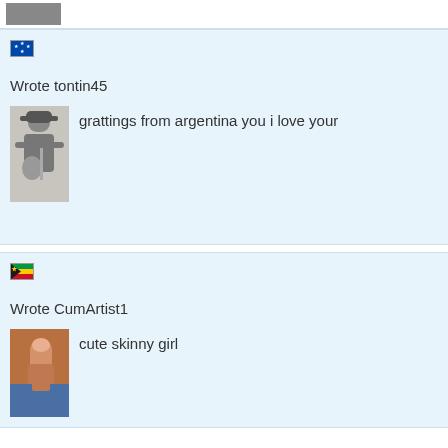[Figure (photo): Top portion showing edge of a profile photo, cropped at top of page]
[Figure (illustration): Small flag icon for Micronesia (blue with stars)]
Wrote tontin45
[Figure (photo): Black and white photo of a person sitting playing guitar, wearing a hat]
grattings from argentina you i love your
[Figure (illustration): Small flag icon for Mozambique (horizontal stripes green/yellow/red with emblem)]
Wrote CumArtist1
[Figure (photo): Close-up photo showing a thumb and fabric/clothing detail]
cute skinny girl